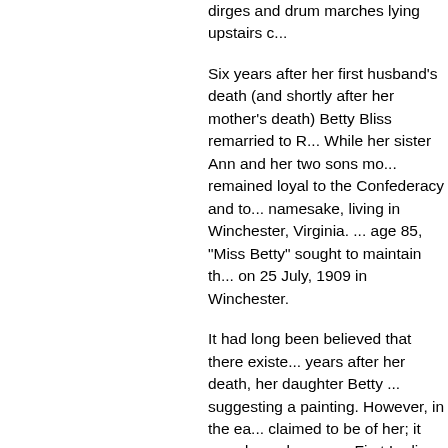dirges and drum marches lying upstairs c...
Six years after her first husband's death (and shortly after her mother's death) Betty Bliss remarried to R... While her sister Ann and her two sons mo... remained loyal to the Confederacy and to... namesake, living in Winchester, Virginia. ... age 85, "Miss Betty" sought to maintain th... on 25 July, 1909 in Winchester.
It had long been believed that there existe... years after her death, her daughter Betty ... suggesting a painting. However, in the ea... claimed to be of her; it was drawn by an a... First Ladies based on other images loaned... 1998, an early photograph that appears t... was copied was purchased by a private c... photograph of Peggy Taylor was part of a... Mexican War figures that originated from... a collateral descendant of her second hus... Betty had no descendants, thus suggesti...
Life After the White House:
Peggy Taylor left the White House with he... with them for three months in Baltimore, r... husband's final days. She then proceeded... they met up with her son Dick for the lega... more comfortable life as a widow than sh... husband leaving an ample estate, includi...